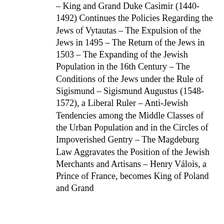– King and Grand Duke Casimir (1440-1492) Continues the Policies Regarding the Jews of Vytautas – The Expulsion of the Jews in 1495 – The Return of the Jews in 1503 – The Expanding of the Jewish Population in the 16th Century – The Conditions of the Jews under the Rule of Sigismund – Sigismund Augustus (1548-1572), a Liberal Ruler – Anti-Jewish Tendencies among the Middle Classes of the Urban Population and in the Circles of Impoverished Gentry – The Magdeburg Law Aggravates the Position of the Jewish Merchants and Artisans – Henry Válois, a Prince of France, becomes King of Poland and Grand...